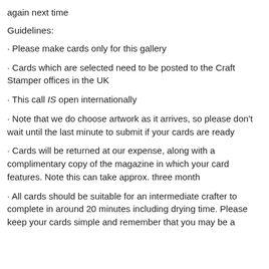again next time
Guidelines:
· Please make cards only for this gallery
· Cards which are selected need to be posted to the Craft Stamper offices in the UK
· This call IS open internationally
· Note that we do choose artwork as it arrives, so please don't wait until the last minute to submit if your cards are ready
· Cards will be returned at our expense, along with a complimentary copy of the magazine in which your card features. Note this can take approx. three month
· All cards should be suitable for an intermediate crafter to complete in around 20 minutes including drying time. Please keep your cards simple and remember that you may be a